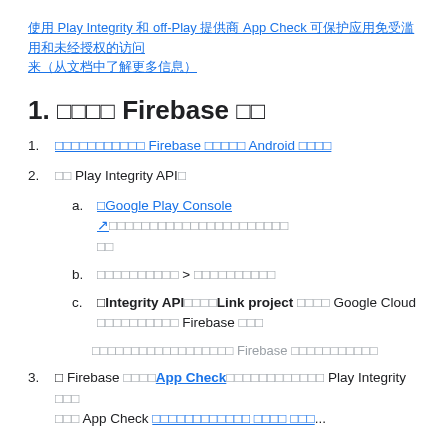使用 Play Integrity 和 off-Play 提供商 App Check 可保护应用免受滥用和未经授权的访问
1. 设置您的 Firebase 项目
1. 如果您尚未将应用连接到 Firebase 项目，请连接 Android 应用
2. 启用 Play Integrity API。
a. Google Play Console 中，选择您的应用，然后在左侧导航中找到 Setup 部分
b. 选择 设置 > 关联到Google云端
c. 在Integrity API选项卡上，Link project 将您的 Google Cloud 项目关联到您的 Firebase 项目
如果您还没有Google Cloud项目，Firebase 将自动为您创建一个
3. 在 Firebase 控制台的App Check部分，使用 Play Integrity 提供商注册应用。您需要